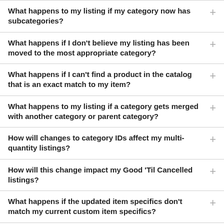What happens to my listing if my category now has subcategories?
What happens if I don't believe my listing has been moved to the most appropriate category?
What happens if I can't find a product in the catalog that is an exact match to my item?
What happens to my listing if a category gets merged with another category or parent category?
How will changes to category IDs affect my multi-quantity listings?
How will this change impact my Good 'Til Cancelled listings?
What happens if the updated item specifics don't match my current custom item specifics?
How do I edit my listing when the item specifics in my category change?
I'm using item specifics, but they aren't showing up in the filter options on the results page. Why is this